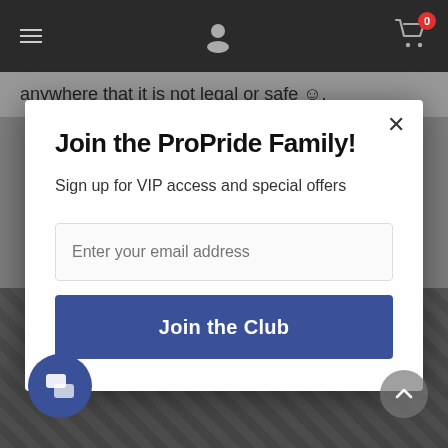Navigation bar with menu, user, and cart icons
anywhere that it is not legal or safe 😊.
Join the ProPride Family!
Sign up for VIP access and special offers
Enter your email address
Join the Club
[Figure (photo): Workers using jackhammers on concrete, background photo]